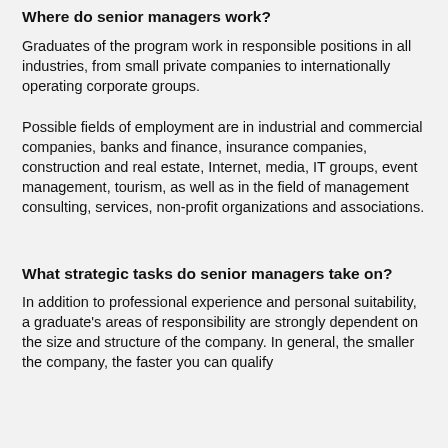Where do senior managers work?
Graduates of the program work in responsible positions in all industries, from small private companies to internationally operating corporate groups.
Possible fields of employment are in industrial and commercial companies, banks and finance, insurance companies, construction and real estate, Internet, media, IT groups, event management, tourism, as well as in the field of management consulting, services, non-profit organizations and associations.
What strategic tasks do senior managers take on?
In addition to professional experience and personal suitability, a graduate’s areas of responsibility are strongly dependent on the size and structure of the company. In general, the smaller the company, the faster you can qualify